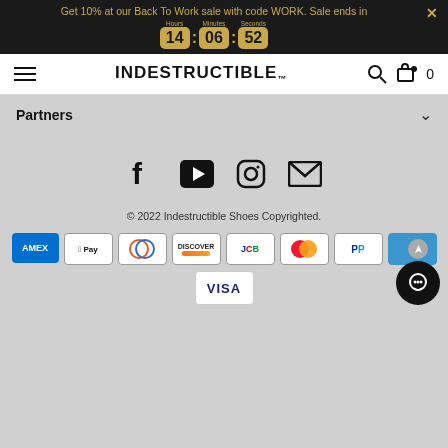Get 10% at our Back To Work sale with code WORK. Sale ends in 14:06:52
[Figure (logo): INDESTRUCTIBLE brand logo with hamburger menu, search icon, and cart icon showing 0 items]
Partners
[Figure (infographic): Social media icons: Facebook, YouTube, Instagram, Email]
© 2022 Indestructible Shoes Copyrighted.
[Figure (infographic): Payment method icons: AMEX, Apple Pay, Diners Club, Discover, JCB, Mastercard, PayPal, Venmo, Visa]